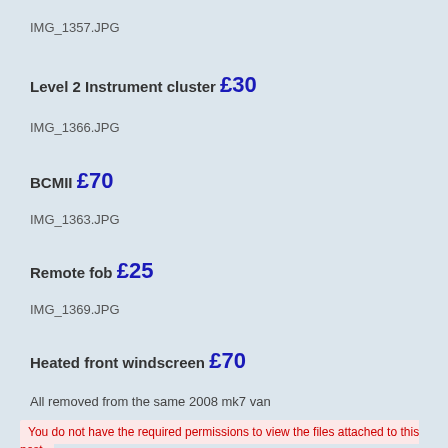IMG_1357.JPG
Level 2 Instrument cluster £30
IMG_1366.JPG
BCMII £70
IMG_1363.JPG
Remote fob £25
IMG_1369.JPG
Heated front windscreen £70
All removed from the same 2008 mk7 van
You do not have the required permissions to view the files attached to this post.